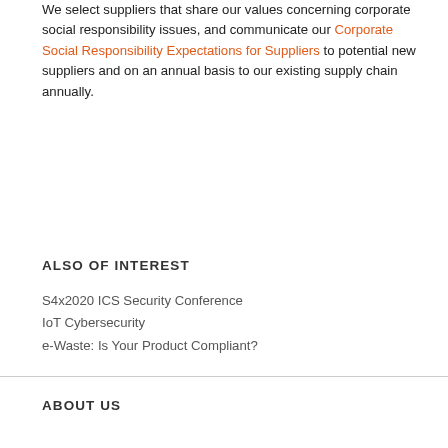We select suppliers that share our values concerning corporate social responsibility issues, and communicate our Corporate Social Responsibility Expectations for Suppliers to potential new suppliers and on an annual basis to our existing supply chain annually.
ALSO OF INTEREST
S4x2020 ICS Security Conference
IoT Cybersecurity
e-Waste: Is Your Product Compliant?
ABOUT US